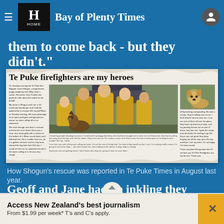Bay of Plenty Times
them to come back - but they didn't."
[Figure (photo): Newspaper clipping with headline 'Te Puke firefighters are my heroes', showing group photo of Te Puke firefighters in yellow hi-vis gear posing with a German Shepherd dog, and a separate photo of the dog alone. Article text written from dog's perspective about being rescued.]
How Shogun's rescue was reported in Te Puke Times in August last year.
Geoff and Jane had an inkling they would head to the
Access New Zealand's best journalism From $1.99 per week* T's and C's apply.